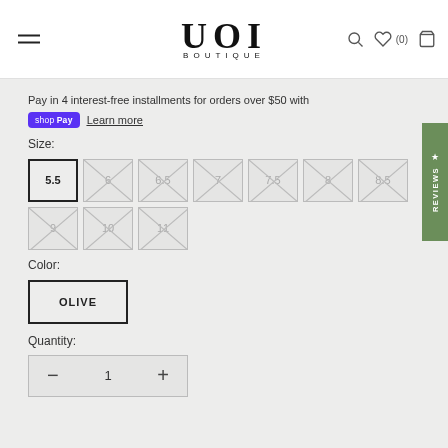UOI BOUTIQUE — navigation header with menu, search, wishlist (0), and cart icons
Pay in 4 interest-free installments for orders over $50 with
shop Pay  Learn more
Size:
Size options: 5.5 (available), 6 (crossed out), 6.5 (crossed out), 7 (crossed out), 7.5 (crossed out), 8 (crossed out), 8.5 (crossed out), 9 (crossed out), 10 (crossed out), 11 (crossed out)
Color:
OLIVE
Quantity:
— 1 +